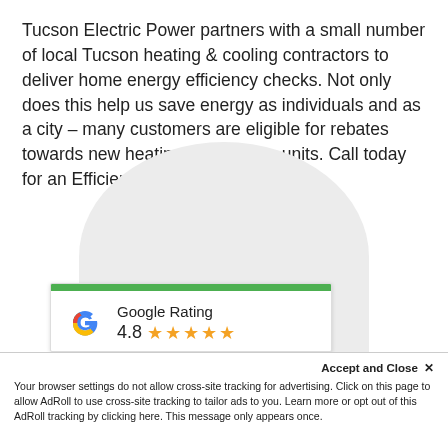Tucson Electric Power partners with a small number of local Tucson heating & cooling contractors to deliver home energy efficiency checks. Not only does this help us save energy as individuals and as a city – many customers are eligible for rebates towards new heating and cooling units. Call today for an Efficient Home Program checkup.
[Figure (other): Google Rating widget showing a Google 'G' logo, green top bar, the text 'Google Rating', star rating of 4.8 with five orange stars, partially visible at bottom of page]
Accept and Close ✕
Your browser settings do not allow cross-site tracking for advertising. Click on this page to allow AdRoll to use cross-site tracking to tailor ads to you. Learn more or opt out of this AdRoll tracking by clicking here. This message only appears once.